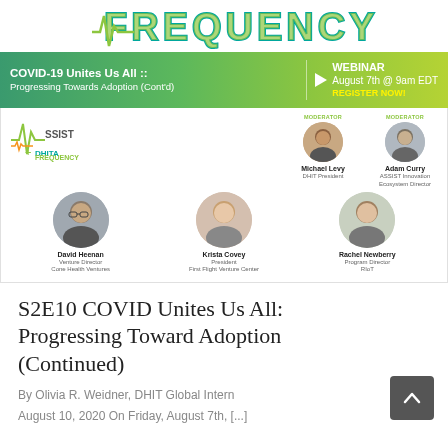[Figure (logo): DHITA Frequency logo — stylized teal/green text with pulse/frequency graphic]
[Figure (infographic): Green banner: COVID-19 Unites Us All :: Progressing Towards Adoption (Cont'd) — WEBINAR August 7th @ 9am EDT REGISTER NOW!]
[Figure (infographic): Webinar speakers panel: ASSIST + DHITA Frequency logos, moderators Michael Levy (DHIT President) and Adam Curry (ASSIST Innovation Ecosystem Director), speakers David Heenan (Venture Director, Cone Health Ventures), Krista Covey (President, First Flight Venture Center), Rachel Newberry (Program Director, RIoT)]
S2E10 COVID Unites Us All: Progressing Toward Adoption (Continued)
By Olivia R. Weidner, DHIT Global Intern
August 10, 2020 On Friday, August 7th, [...]